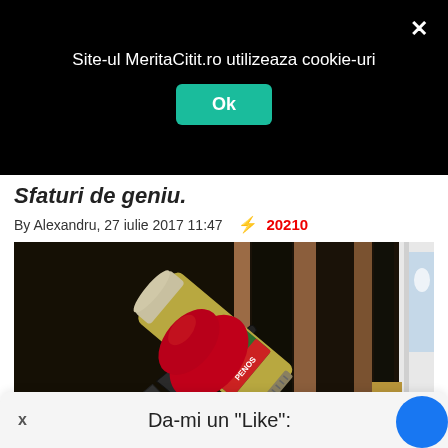Site-ul MeritaCitit.ro utilizeaza cookie-uri
Ok
Sfaturi de geniu.
By Alexandru, 27 iulie 2017 11:47  ⚡ 20210
[Figure (photo): Person in red gloves applying sealant/caulk with a caulking gun near a window frame in a construction setting]
Da-mi un "Like":